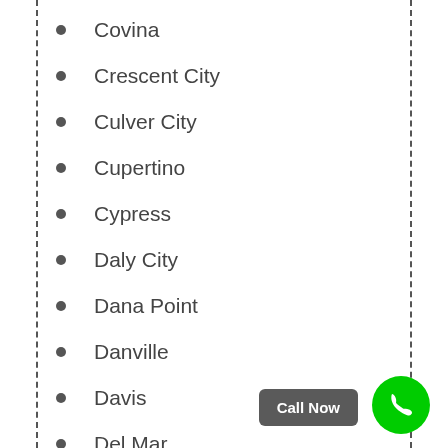Covina
Crescent City
Culver City
Cupertino
Cypress
Daly City
Dana Point
Danville
Davis
Del Mar